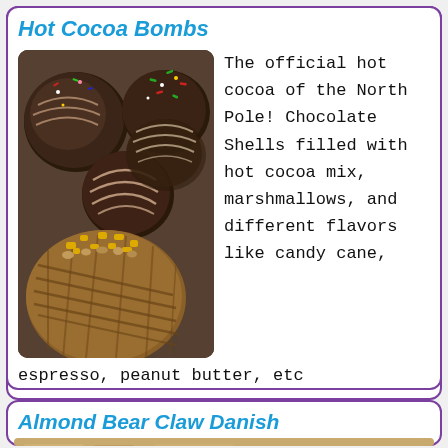Hot Cocoa Bombs
[Figure (photo): Photo of multiple chocolate hot cocoa bombs, some with sprinkles and drizzle, one large one with yellow candy decorations and chocolate lattice pattern, on a dark tray]
The official hot cocoa of the North Pole!  Chocolate Shells filled with hot cocoa mix, marshmallows, and different flavors like candy cane, espresso, peanut butter, etc
$6ea, $22.50 for 4 pack, $32 for 6 pack
Almond Bear Claw Danish
[Figure (photo): Partial photo of an Almond Bear Claw Danish pastry, showing a light golden baked surface with almond pieces]